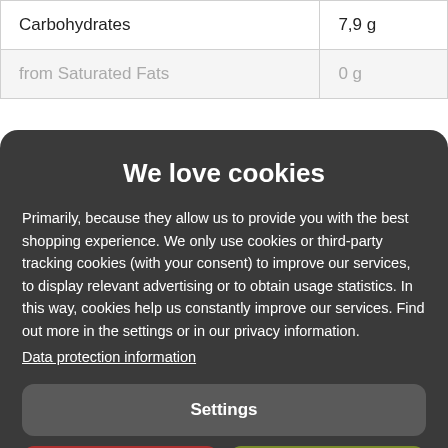| Carbohydrates | 7,9 g |
| from Saturated Fats | 0 g |
We love cookies
Primarily, because they allow us to provide you with the best shopping experience. We only use cookies or third-party tracking cookies (with your consent) to improve our services, to display relevant advertising or to obtain usage statistics. In this way, cookies help us constantly improve our services. Find out more in the settings or in our privacy information.
Data protection information
Settings
Reject all
Accept all